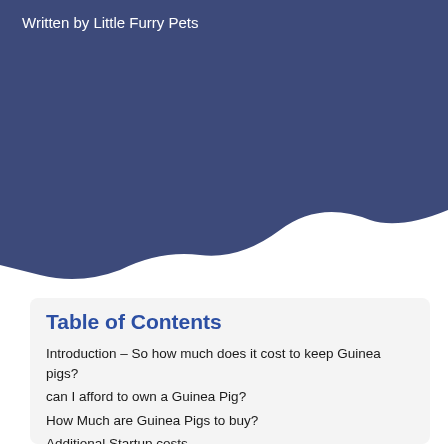Written by Little Furry Pets
[Figure (illustration): Dark navy/blue wave shape covering the top portion of the page, transitioning to white background below via a wave curve.]
Table of Contents
Introduction – So how much does it cost to keep Guinea pigs?
can I afford to own a Guinea Pig?
How Much are Guinea Pigs to buy?
Additional Startup costs...